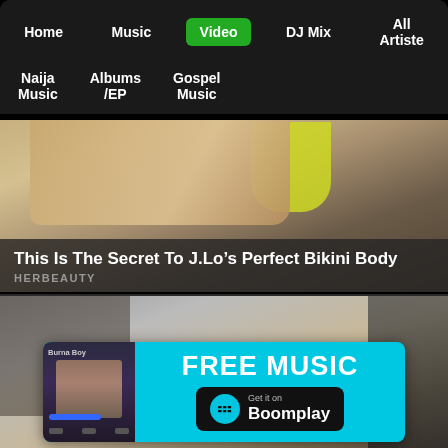Home  Music  Video  DJ Mix  All Artiste  Naija Music  Albums/EP  Gospel Music
[Figure (photo): Woman in yellow bikini lying on a boat, lifestyle/beauty advertisement]
This Is The Secret To J.Lo’s Perfect Bikini Body
HERBEAUTY
[Figure (photo): Person looking at phone screen, with Boomplay free music advertisement banner overlay showing Burna Boy]
[Figure (infographic): Boomplay banner: FREE MUSIC - Get it on Boomplay]